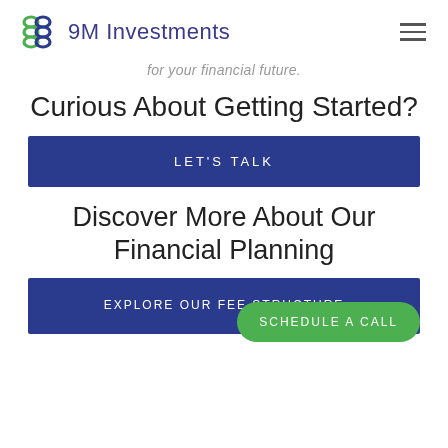9M Investments
for your financial future.
Curious About Getting Started?
LET'S TALK
Discover More About Our Financial Planning
EXPLORE OUR FEE STRUCTURE
SCHEDULE A CALL